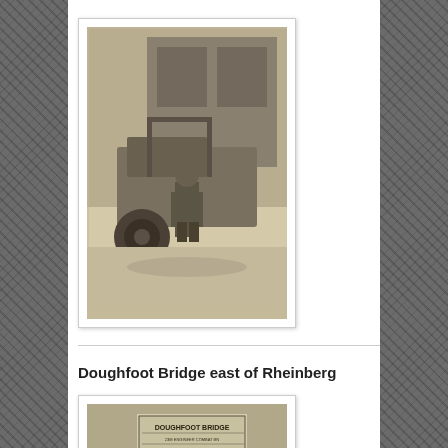[Figure (photo): Black and white photograph of a soldier standing in front of a military truck/vehicle, outdoors.]
Doughfoot Bridge east of Rheinberg
[Figure (photo): Black and white photograph of soldiers standing in front of a sign reading 'DOUGHFOOT BRIDGE' and '23M ENGINEER COMBAT BN'.]